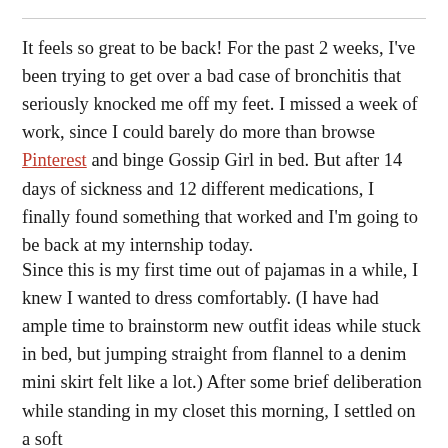It feels so great to be back! For the past 2 weeks, I've been trying to get over a bad case of bronchitis that seriously knocked me off my feet. I missed a week of work, since I could barely do more than browse Pinterest and binge Gossip Girl in bed. But after 14 days of sickness and 12 different medications, I finally found something that worked and I'm going to be back at my internship today.
Since this is my first time out of pajamas in a while, I knew I wanted to dress comfortably. (I have had ample time to brainstorm new outfit ideas while stuck in bed, but jumping straight from flannel to a denim mini skirt felt like a lot.) After some brief deliberation while standing in my closet this morning, I settled on a soft